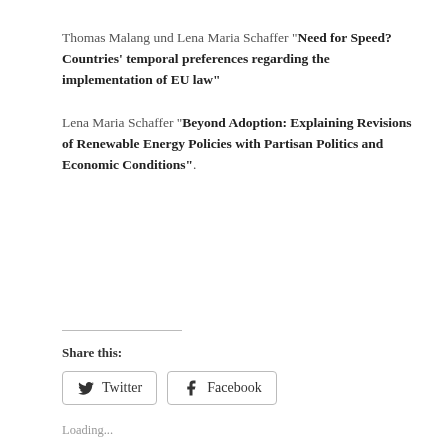Thomas Malang und Lena Maria Schaffer "Need for Speed? Countries' temporal preferences regarding the implementation of EU law"
Lena Maria Schaffer "Beyond Adoption: Explaining Revisions of Renewable Energy Policies with Partisan Politics and Economic Conditions".
Share this:
Twitter  Facebook
Loading...